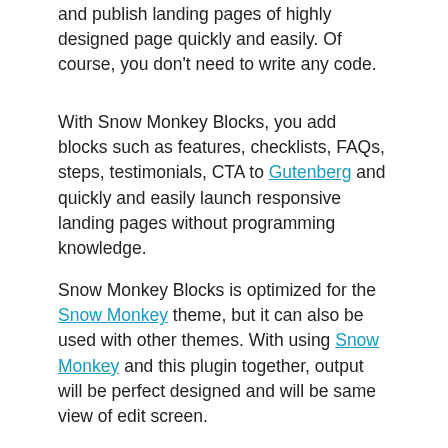and publish landing pages of highly designed page quickly and easily. Of course, you don't need to write any code.
With Snow Monkey Blocks, you add blocks such as features, checklists, FAQs, steps, testimonials, CTA to Gutenberg and quickly and easily launch responsive landing pages without programming knowledge.
Snow Monkey Blocks is optimized for the Snow Monkey theme, but it can also be used with other themes. With using Snow Monkey and this plugin together, output will be perfect designed and will be same view of edit screen.
[Figure (screenshot): Screenshot of Snow Monkey Blocks YouTube/video thumbnail showing a red circle logo with a monkey icon, title 'Snow Monkey Blocks' in white on black background, and below a website interface with Japanese navigation menu and Snow Monkey branding]